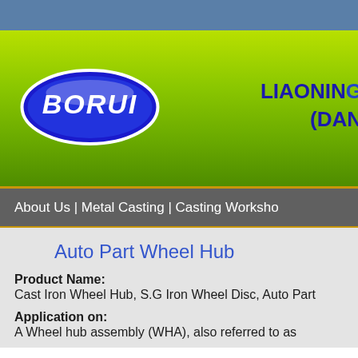[Figure (logo): BORUI logo - blue oval with white BORUI text]
LIAONING (DAN
About Us | Metal Casting | Casting Worksho
Auto Part Wheel Hub
Product Name:
Cast Iron Wheel Hub, S.G Iron Wheel Disc, Auto Part
Application on:
A Wheel hub assembly (WHA), also referred to as